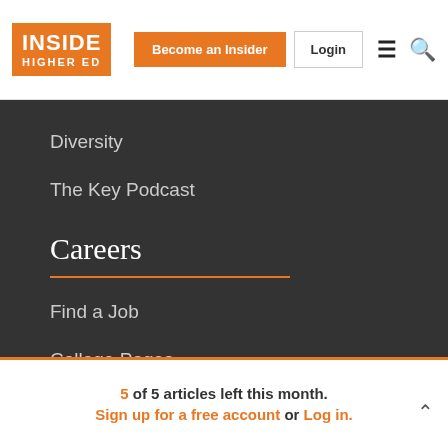INSIDE HIGHER ED | Become an Insider | Login
Diversity
The Key Podcast
Careers
Find a Job
College Pages
Career Advice
Job Alerts
5 of 5 articles left this month. Sign up for a free account or Log in.